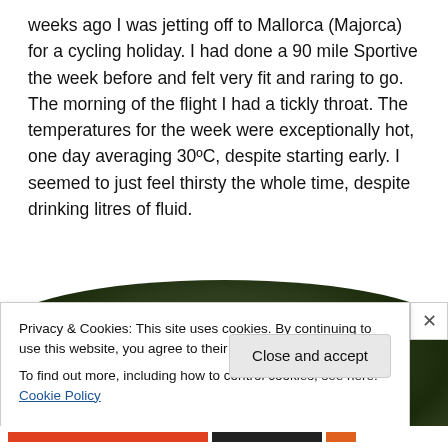weeks ago I was jetting off to Mallorca (Majorca) for a cycling holiday. I had done a 90 mile Sportive the week before and felt very fit and raring to go. The morning of the flight I had a tickly throat. The temperatures for the week were exceptionally hot, one day averaging 30ºC, despite starting early. I seemed to just feel thirsty the whole time, despite drinking litres of fluid.
[Figure (photo): Outdoor photo showing green foliage/trees with a blurred background, rounded top edges visible]
Privacy & Cookies: This site uses cookies. By continuing to use this website, you agree to their use.
To find out more, including how to control cookies, see here: Cookie Policy